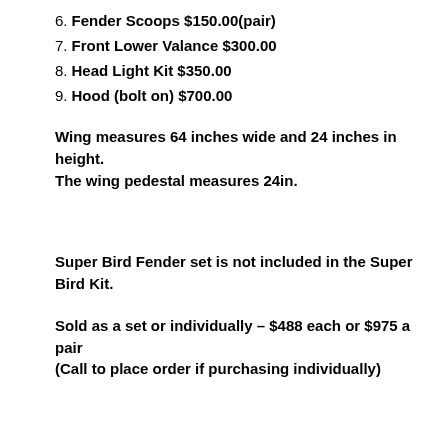6. Fender Scoops $150.00(pair)
7. Front Lower Valance $300.00
8. Head Light Kit $350.00
9. Hood (bolt on) $700.00
Wing measures 64 inches wide and 24 inches in height. The wing pedestal measures 24in.
Super Bird Fender set is not included in the Super Bird Kit.
Sold as a set or individually – $488 each or $975 a pair (Call to place order if purchasing individually)